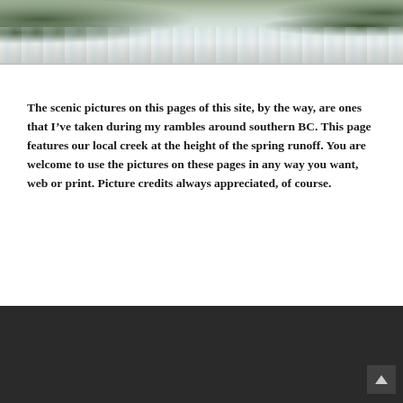[Figure (photo): Photograph of a rushing creek/river at high water, showing turbulent white water with green vegetation visible at the top left corner.]
The scenic pictures on this pages of this site, by the way, are ones that I’ve taken during my rambles around southern BC. This page features our local creek at the height of the spring runoff. You are welcome to use the pictures on these pages in any way you want, web or print. Picture credits always appreciated, of course.